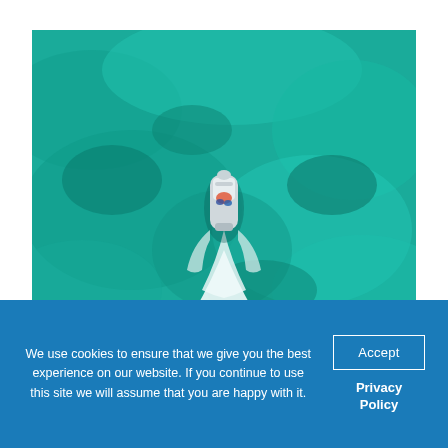[Figure (photo): Aerial top-down view of a motorboat traveling through turquoise-green shallow water, leaving a white wake trail behind it.]
We use cookies to ensure that we give you the best experience on our website. If you continue to use this site we will assume that you are happy with it.
Accept
Privacy Policy